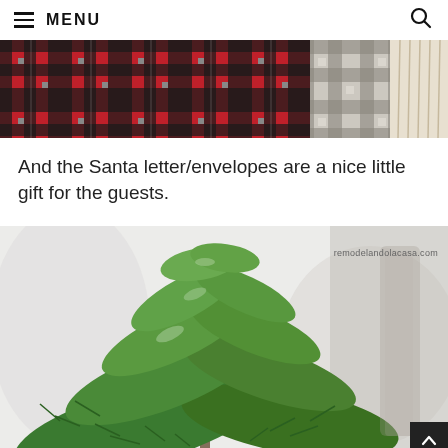≡ MENU
[Figure (photo): Close-up of red, black, grey, and white plaid/tartan fabric with fringe, photographed from above.]
And the Santa letter/envelopes are a nice little gift for the guests.
[Figure (photo): Close-up photo of green pine tree branches against a blurred light background. Watermark: remodelandolacasa.com]